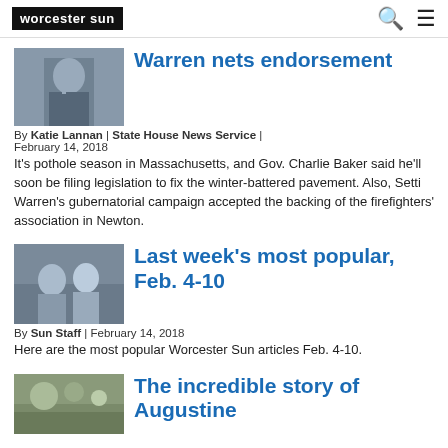worcester sun
[Figure (photo): Thumbnail photo of a man in a suit at a microphone]
Warren nets endorsement
By Katie Lannan | State House News Service | February 14, 2018
It's pothole season in Massachusetts, and Gov. Charlie Baker said he'll soon be filing legislation to fix the winter-battered pavement. Also, Setti Warren's gubernatorial campaign accepted the backing of the firefighters' association in Newton.
[Figure (photo): Thumbnail photo of two people outdoors]
Last week's most popular, Feb. 4-10
By Sun Staff | February 14, 2018
Here are the most popular Worcester Sun articles Feb. 4-10.
[Figure (photo): Thumbnail photo of outdoor scene]
The incredible story of Augustine